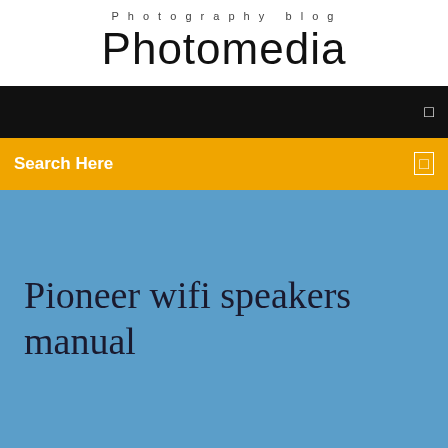Photography blog
Photomedia
Search Here
Pioneer wifi speakers manual